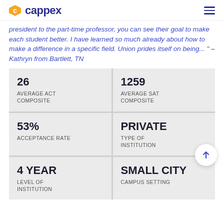cappex
president to the part-time professor, you can see their goal to make each student better. I have learned so much already about how to make a difference in a specific field. Union prides itself on being... " – Kathryn from Bartlett, TN
| Metric | Value |
| --- | --- |
| AVERAGE ACT COMPOSITE | 26 |
| AVERAGE SAT COMPOSITE | 1259 |
| ACCEPTANCE RATE | 53% |
| TYPE OF INSTITUTION | PRIVATE |
| LEVEL OF INSTITUTION | 4 YEAR |
| CAMPUS SETTING | SMALL CITY |